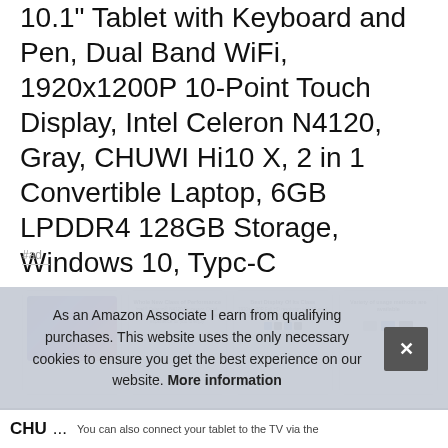10.1" Tablet with Keyboard and Pen, Dual Band WiFi, 1920x1200P 10-Point Touch Display, Intel Celeron N4120, Gray, CHUWI Hi10 X, 2 in 1 Convertible Laptop, 6GB LPDDR4 128GB Storage, Windows 10, Typc-C
#ad
[Figure (photo): Row of four product thumbnail images: first shows the tablet with colorful display, second shows 'Whole New Class of Performance' marketing text, third shows 'Best Display Of Its Class', fourth shows 'Variety of usage methods are available']
As an Amazon Associate I earn from qualifying purchases. This website uses the only necessary cookies to ensure you get the best experience on our website. More information
CHU... You can also connect your tablet to the TV via the